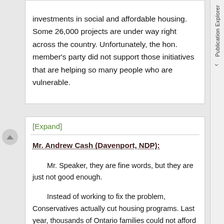investments in social and affordable housing. Some 26,000 projects are under way right across the country. Unfortunately, the hon. member's party did not support those initiatives that are helping so many people who are vulnerable.
[Expand]
Mr. Andrew Cash (Davenport, NDP):
Mr. Speaker, they are fine words, but they are just not good enough.
Instead of working to fix the problem, Conservatives actually cut housing programs. Last year, thousands of Ontario families could not afford decent roofs over their